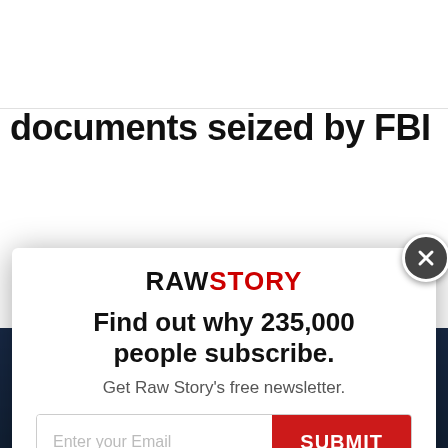<< HOMEPAGE
Subscribe
documents seized by FBI
[Figure (screenshot): Newsletter subscription modal popup from Raw Story. Contains logo 'RAWSTORY', headline 'Find out why 235,000 people subscribe.', subtext 'Get Raw Story's free newsletter.', email input field, and a SUBMIT button. Close button (X) in top-right corner.]
[Figure (photo): Partial photograph of a man in a dark suit with white shirt and red tie, visible from chest up, appearing to be in front of an audience or panel setting.]